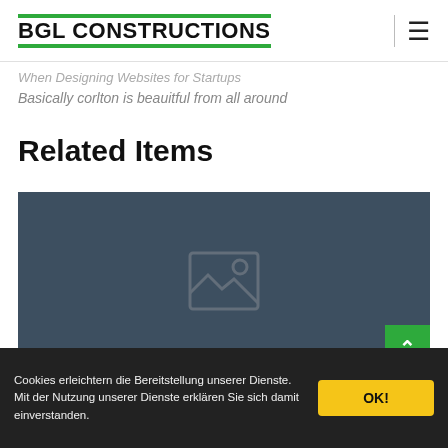BGL CONSTRUCTIONS
When Designing Websites for Startups
Basically corlton is beauitful from all around
Related Items
[Figure (photo): Dark blue-grey placeholder image block with broken image icon in the center]
Cookies erleichtern die Bereitstellung unserer Dienste. Mit der Nutzung unserer Dienste erklären Sie sich damit einverstanden.